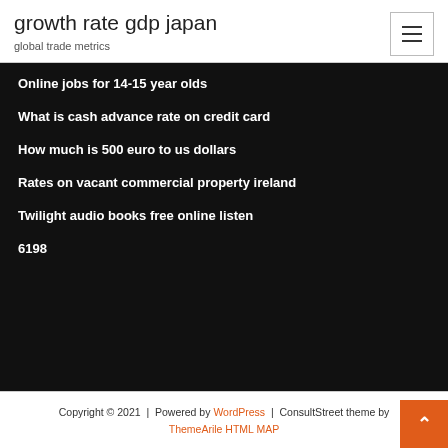growth rate gdp japan
global trade metrics
Online jobs for 14-15 year olds
What is cash advance rate on credit card
How much is 500 euro to us dollars
Rates on vacant commercial property ireland
Twilight audio books free online listen
6198
Copyright © 2021  |  Powered by WordPress  |  ConsultStreet theme by ThemeArile HTML MAP